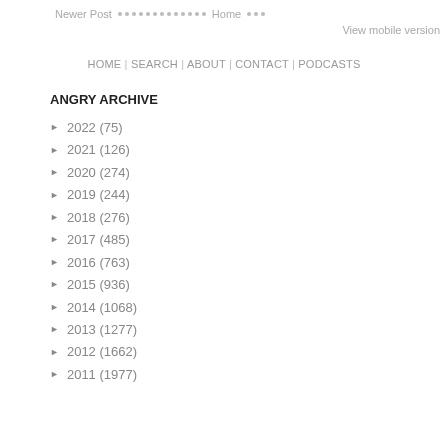Newer Post · · · · · · · · · · · · · · · · Home · · ·
View mobile version
HOME | SEARCH | ABOUT | CONTACT | PODCASTS
ANGRY ARCHIVE
► 2022 (75)
► 2021 (126)
► 2020 (274)
► 2019 (244)
► 2018 (276)
► 2017 (485)
► 2016 (763)
► 2015 (936)
► 2014 (1068)
► 2013 (1277)
► 2012 (1662)
► 2011 (1977)